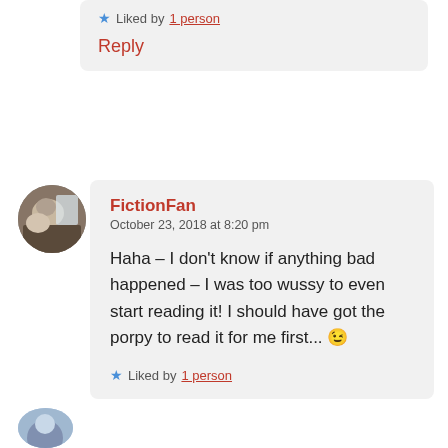Liked by 1 person
Reply
FictionFan
October 23, 2018 at 8:20 pm

Haha – I don't know if anything bad happened – I was too wussy to even start reading it! I should have got the porpy to read it for me first... 😉

Liked by 1 person